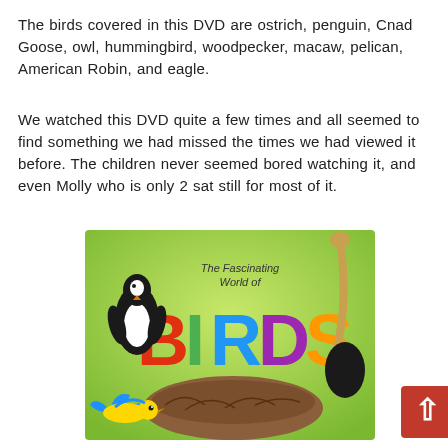The birds covered in this DVD are ostrich, penguin, Cnad Goose, owl, hummingbird, woodpecker, macaw, pelican, American Robin, and eagle.
We watched this DVD quite a few times and all seemed to find something we had missed the times we had viewed it before. The children never seemed bored watching it, and even Molly who is only 2 sat still for most of it.
[Figure (illustration): DVD cover for 'The Fascinating World of Birds' showing colorful 3D letters spelling BIRDS on a green background, with a penguin on the left, an ostrich on the right, a bird's nest in the center, and a blue and yellow bird at the bottom.]